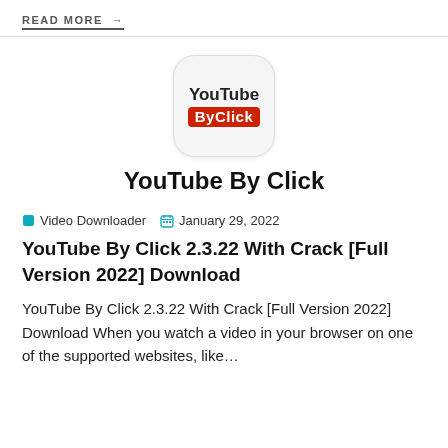READ MORE →
[Figure (logo): YouTube By Click app logo: rounded square with 'YouTube' in dark text and 'ByClick' in a red badge below]
YouTube By Click
Video Downloader   January 29, 2022
YouTube By Click 2.3.22 With Crack [Full Version 2022] Download
YouTube By Click 2.3.22 With Crack [Full Version 2022] Download When you watch a video in your browser on one of the supported websites, like…